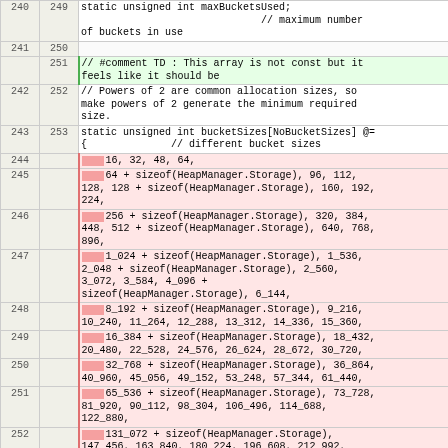| old | new | code |
| --- | --- | --- |
| 240 | 249 | static unsigned int maxBucketsUsed;
                              // maximum number of buckets in use |
| 241 | 250 |  |
|  | 251 | // #comment TD : This array is not const but it feels like it should be |
| 242 | 252 | // Powers of 2 are common allocation sizes, so make powers of 2 generate the minimum required size. |
| 243 | 253 | static unsigned int bucketSizes[NoBucketSizes] @=
{              // different bucket sizes |
| 244 |  |     16, 32, 48, 64, |
| 245 |  |     64 + sizeof(HeapManager.Storage), 96, 112,
128, 128 + sizeof(HeapManager.Storage), 160, 192,
224, |
| 246 |  |     256 + sizeof(HeapManager.Storage), 320, 384,
448, 512 + sizeof(HeapManager.Storage), 640, 768,
896, |
| 247 |  |     1_024 + sizeof(HeapManager.Storage), 1_536,
2_048 + sizeof(HeapManager.Storage), 2_560,
3_072, 3_584, 4_096 +
sizeof(HeapManager.Storage), 6_144, |
| 248 |  |     8_192 + sizeof(HeapManager.Storage), 9_216,
10_240, 11_264, 12_288, 13_312, 14_336, 15_360, |
| 249 |  |     16_384 + sizeof(HeapManager.Storage), 18_432,
20_480, 22_528, 24_576, 26_624, 28_672, 30_720, |
| 250 |  |     32_768 + sizeof(HeapManager.Storage), 36_864,
40_960, 45_056, 49_152, 53_248, 57_344, 61_440, |
| 251 |  |     65_536 + sizeof(HeapManager.Storage), 73_728,
81_920, 90_112, 98_304, 106_496, 114_688,
122_880, |
| 252 |  |     131_072 + sizeof(HeapManager.Storage),
147_456, 163_840, 180_224, 196_608, 212_992,
229_376, 245_760, |
| 253 |  |     262_144 + sizeof(HeapManager.Storage), |